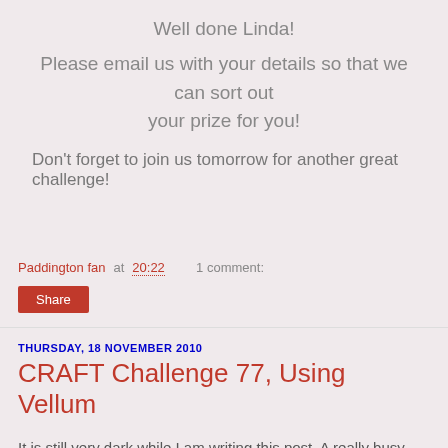Well done Linda!
Please email us with your details so that we can sort out your prize for you!
Don't forget to join us tomorrow for another great challenge!
Paddington fan at 20:22    1 comment:
Share
THURSDAY, 18 NOVEMBER 2010
CRAFT Challenge 77, Using Vellum
It is still very dark while I am writing this post. A really busy week at the moment. It also feels like winter is starting to descend on us here in the UK, with needing to defrost the